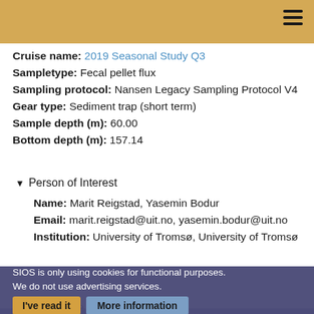Cruise name: 2019 Seasonal Study Q3
Sampletype: Fecal pellet flux
Sampling protocol: Nansen Legacy Sampling Protocol V4
Gear type: Sediment trap (short term)
Sample depth (m): 60.00
Bottom depth (m): 157.14
▼ Person of Interest
Name: Marit Reigstad, Yasemin Bodur
Email: marit.reigstad@uit.no, yasemin.bodur@uit.no
Institution: University of Tromsø, University of Tromsø
► Show more metadata
SIOS is only using cookies for functional purposes.
We do not use advertising services.
Event ID: 2d6ffa90-bfe6-11e9-8f49-000c29fb4a96
Parent Event ID: 000c29fb4a96
Event date: 2019-08-15T20:32:00
Station: P...
Location: 80° 30' 2' N, 33° 52' 52' E